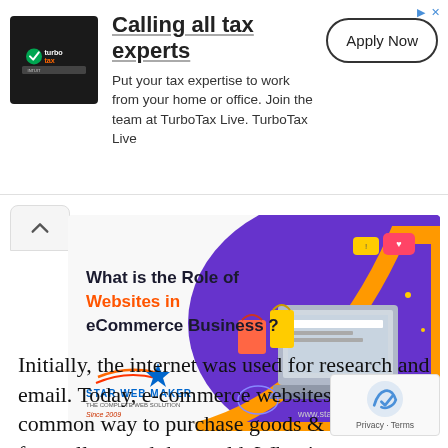[Figure (screenshot): TurboTax advertisement banner with logo, 'Calling all tax experts' headline, description text, and Apply Now button]
[Figure (illustration): Star Web Maker advertisement banner showing 'What is the Role of Websites in eCommerce Business?' with ecommerce graphics, laptop, shopping bags on purple/orange background, starwebmaker.com]
Initially, the internet was used for research and email. Today, e-commerce websites are a common way to purchase goods & services from all around the world. What is an ecommerce website? It is a term that refers